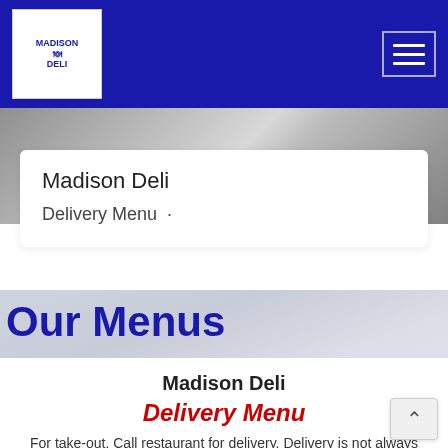Madison Deli - Navigation bar with logo and hamburger menu
[Figure (photo): Black and white food preparation hero image]
Madison Deli
Delivery Menu ·
Our Menus
Madison Deli
Delivery Menu
For take-out. Call restaurant for delivery. Delivery is not always available at this time. To place an